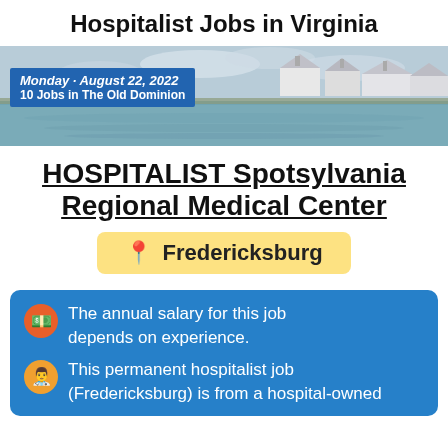Hospitalist Jobs in Virginia
[Figure (photo): Aerial/waterfront view of a Virginia town with houses reflected in water, bare trees, overcast sky. Blue overlay box shows Monday · August 22, 2022 / 10 Jobs in The Old Dominion]
HOSPITALIST Spotsylvania Regional Medical Center
Fredericksburg
The annual salary for this job depends on experience.
This permanent hospitalist job (Fredericksburg) is from a hospital-owned